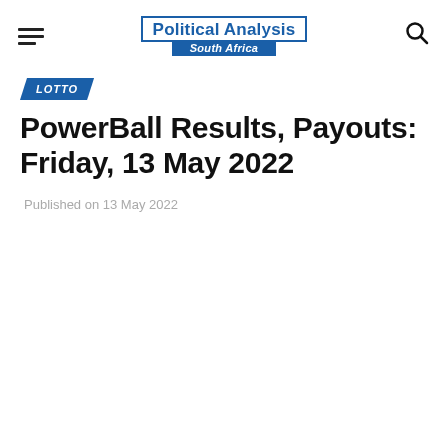Political Analysis South Africa
LOTTO
PowerBall Results, Payouts: Friday, 13 May 2022
Published on 13 May 2022